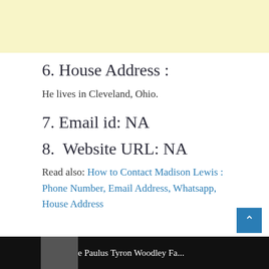[Figure (other): Light yellow advertisement banner at top of page]
6. House Address :
He lives in Cleveland, Ohio.
7. Email id: NA
8.  Website URL: NA
Read also: How to Contact Madison Lewis : Phone Number, Email Address, Whatsapp, House Address
[Figure (photo): Dark banner at bottom showing partial image of a person and text 'Jake Paulus Tyron Woodley Fa...']